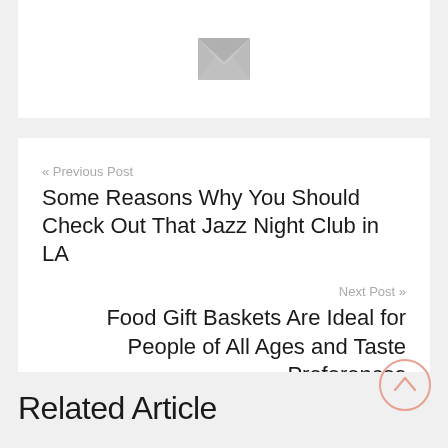[Figure (illustration): Grey envelope/mail icon centered in a white card area]
« Previous Post
Some Reasons Why You Should Check Out That Jazz Night Club in LA
Next Post »
Food Gift Baskets Are Ideal for People of All Ages and Taste Preferences
Related Article